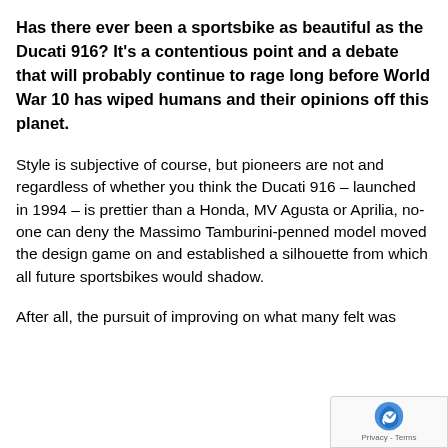Has there ever been a sportsbike as beautiful as the Ducati 916? It's a contentious point and a debate that will probably continue to rage long before World War 10 has wiped humans and their opinions off this planet.
Style is subjective of course, but pioneers are not and regardless of whether you think the Ducati 916 – launched in 1994 – is prettier than a Honda, MV Agusta or Aprilia, no-one can deny the Massimo Tamburini-penned model moved the design game on and established a silhouette from which all future sportsbikes would shadow.
After all, the pursuit of improving on what many felt was